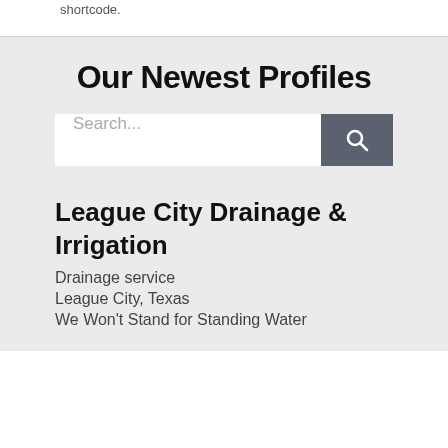shortcode.
Our Newest Profiles
[Figure (screenshot): Search bar with text input placeholder 'Search...' and a dark grey search button with magnifying glass icon]
League City Drainage & Irrigation
Drainage service
League City, Texas
We Won't Stand for Standing Water